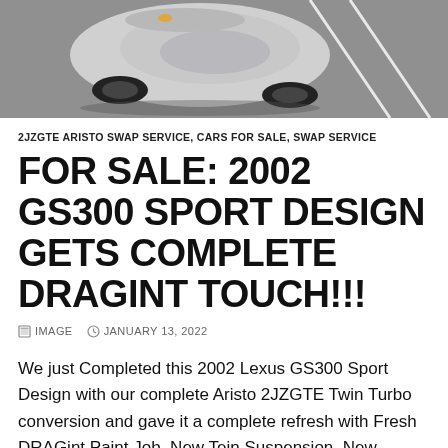[Figure (photo): Aerial/overhead view of a silver sports car (Lexus GS300) parked in a parking lot with black wheels, viewed from above.]
2JZGTE ARISTO SWAP SERVICE, CARS FOR SALE, SWAP SERVICE
FOR SALE: 2002 GS300 SPORT DESIGN GETS COMPLETE DRAGINT TOUCH!!!
IMAGE   JANUARY 13, 2022
We just Completed this 2002 Lexus GS300 Sport Design with our complete Aristo 2JZGTE Twin Turbo conversion and gave it a complete refresh with Fresh DRAGint Paint Job, New Tein Suspension, New Wheels and New tires. A sought after Millenium Silver over Black leather this special edition sports